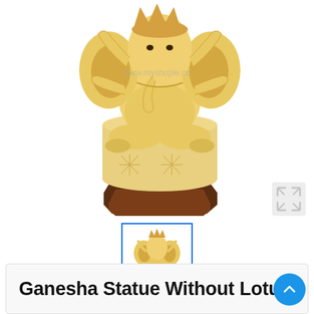[Figure (photo): Close-up photo of a carved wooden Ganesha statue sitting in lotus position on a dark wood octagonal base, with a light cream/yellow color. Watermark text 'www.myshopie.co' visible in the middle of the image.]
[Figure (photo): Small thumbnail image of the same Ganesha statue, full view, with blue border indicating selected state.]
Ganesha Statue Without Lotus